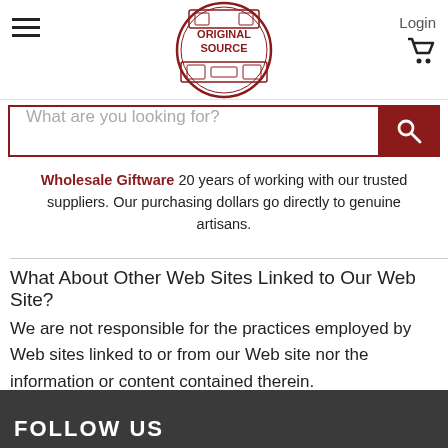[Figure (logo): Original Source circular logo with red decorative border and 'ORIGINAL SOURCE' text in red]
Login
What are you looking for?
Wholesale Giftware 20 years of working with our trusted suppliers. Our purchasing dollars go directly to genuine artisans.
What About Other Web Sites Linked to Our Web Site?
We are not responsible for the practices employed by Web sites linked to or from our Web site nor the information or content contained therein.
FOLLOW US